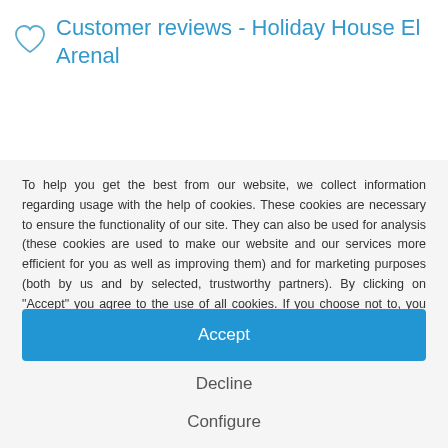Customer reviews - Holiday House El Arenal
To help you get the best from our website, we collect information regarding usage with the help of cookies. These cookies are necessary to ensure the functionality of our site. They can also be used for analysis (these cookies are used to make our website and our services more efficient for you as well as improving them) and for marketing purposes (both by us and by selected, trustworthy partners). By clicking on "Accept" you agree to the use of all cookies. If you choose not to, you can select the cookies you are happy to use here. Click here for more information about our privacy policy.
Accept
Decline
Configure